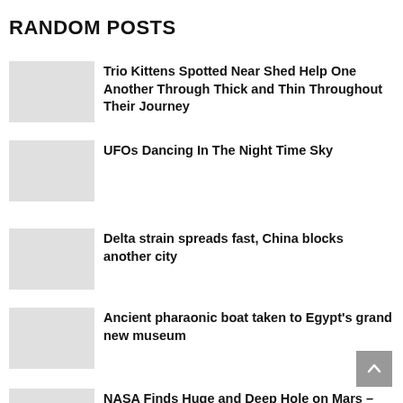RANDOM POSTS
Trio Kittens Spotted Near Shed Help One Another Through Thick and Thin Throughout Their Journey
UFOs Dancing In The Night Time Sky
Delta strain spreads fast, China blocks another city
Ancient pharaonic boat taken to Egypt's grand new museum
NASA Finds Huge and Deep Hole on Mars – Alien Bases?